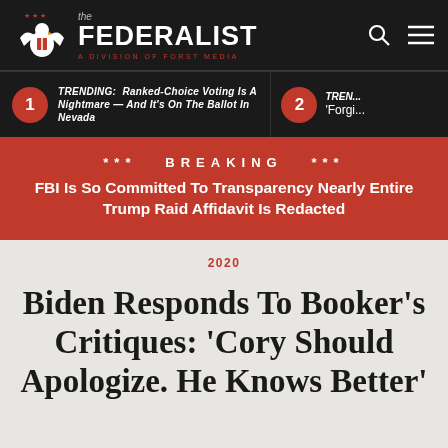the FEDERALIST — A DIVISION OF FORST MEDIA
TRENDING: Ranked-Choice Voting Is A Nightmare — And It's On The Ballot In Nevada
TREN... 'Forgi...
*** BREAKING *** FBI Is So Committed To Transparency Nearly Entire Trump Raid Affidavit Is Redacted
2020
Biden Responds To Booker's Critiques: 'Cory Should Apologize. He Knows Better'